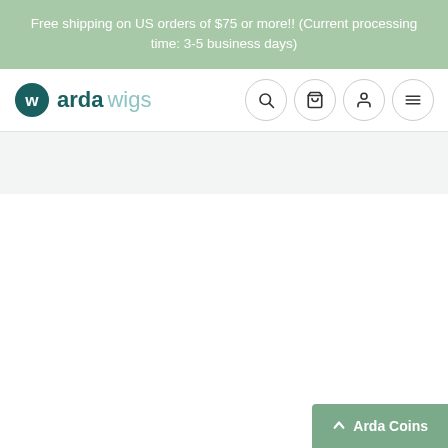Free shipping on US orders of $75 or more!! (Current processing time: 3-5 business days)
[Figure (logo): Arda Wigs logo with circular 'w' icon in teal, followed by 'arda' in dark teal bold and 'wigs' in light teal]
Arda Coins